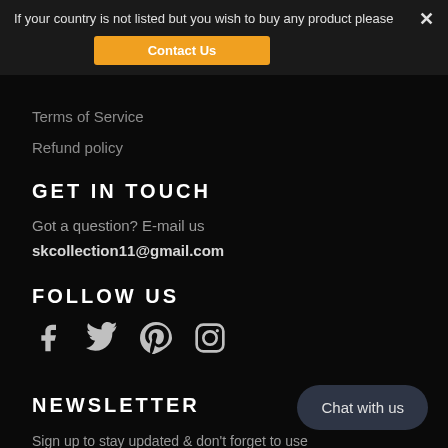If your country is not listed but you wish to buy any product please
Contact Us
Terms of Service
Refund policy
GET IN TOUCH
Got a question? E-mail us
skcollection11@gmail.com
FOLLOW US
[Figure (other): Social media icons: Facebook, Twitter, Pinterest, Instagram]
NEWSLETTER
Chat with us
Sign up to stay updated & don't forget to use discount code "New-Subscriber" on your first order!